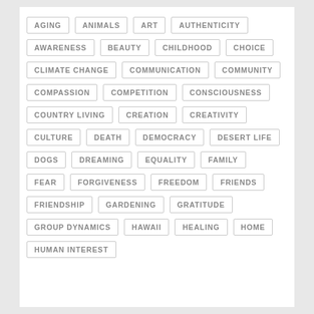AGING
ANIMALS
ART
AUTHENTICITY
AWARENESS
BEAUTY
CHILDHOOD
CHOICE
CLIMATE CHANGE
COMMUNICATION
COMMUNITY
COMPASSION
COMPETITION
CONSCIOUSNESS
COUNTRY LIVING
CREATION
CREATIVITY
CULTURE
DEATH
DEMOCRACY
DESERT LIFE
DOGS
DREAMING
EQUALITY
FAMILY
FEAR
FORGIVENESS
FREEDOM
FRIENDS
FRIENDSHIP
GARDENING
GRATITUDE
GROUP DYNAMICS
HAWAII
HEALING
HOME
HUMAN INTEREST